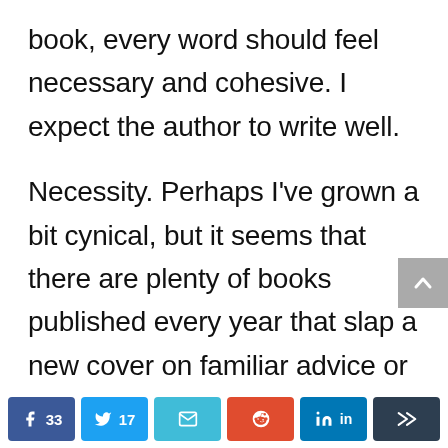book, every word should feel necessary and cohesive. I expect the author to write well.
Necessity. Perhaps I've grown a bit cynical, but it seems that there are plenty of books published every year that slap a new cover on familiar advice or
[Figure (other): Social share bar with Facebook (33), Twitter (17), Email, Reddit, LinkedIn, and More buttons]